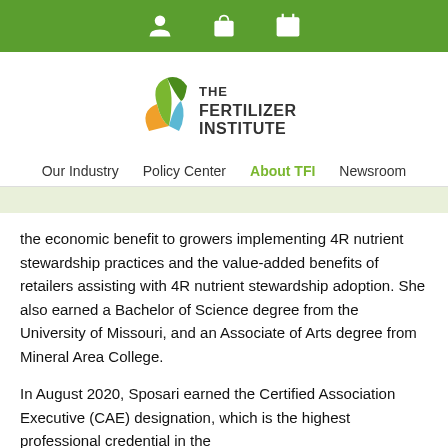Navigation bar with icons: person, bag, calendar
[Figure (logo): The Fertilizer Institute logo with colorful leaf/plant icon and text THE FERTILIZER INSTITUTE]
Our Industry | Policy Center | About TFI | Newsroom
the economic benefit to growers implementing 4R nutrient stewardship practices and the value-added benefits of retailers assisting with 4R nutrient stewardship adoption. She also earned a Bachelor of Science degree from the University of Missouri, and an Associate of Arts degree from Mineral Area College.
In August 2020, Sposari earned the Certified Association Executive (CAE) designation, which is the highest professional credential in the